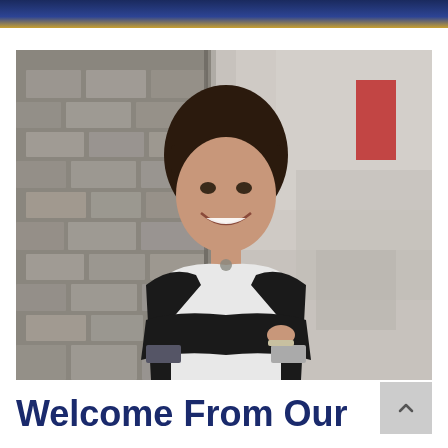[Figure (photo): Professional headshot of a woman with dark brown hair with bangs, wearing a black blazer over a white shirt with a necklace, arms crossed, leaning against a stone/brick wall outdoors, smiling at the camera. Background is blurred street scene with a red element visible.]
Welcome From Our